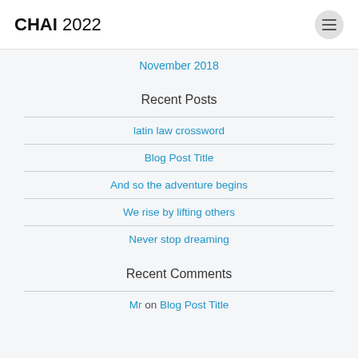CHAI 2022
November 2018
Recent Posts
latin law crossword
Blog Post Title
And so the adventure begins
We rise by lifting others
Never stop dreaming
Recent Comments
Mr on Blog Post Title